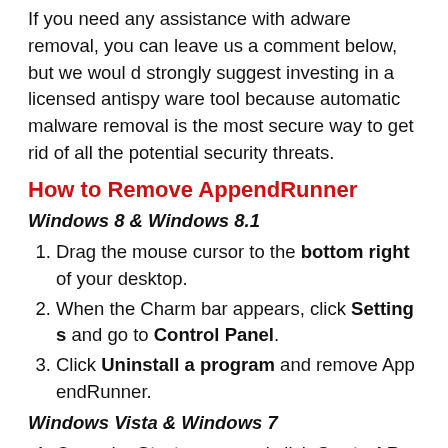If you need any assistance with adware removal, you can leave us a comment below, but we would strongly suggest investing in a licensed antispyware tool because automatic malware removal is the most secure way to get rid of all the potential security threats.
How to Remove AppendRunner
Windows 8 & Windows 8.1
Drag the mouse cursor to the bottom right of your desktop.
When the Charm bar appears, click Settings and go to Control Panel.
Click Uninstall a program and remove AppendRunner.
Windows Vista & Windows 7
Open the Start menu and click Control Pa